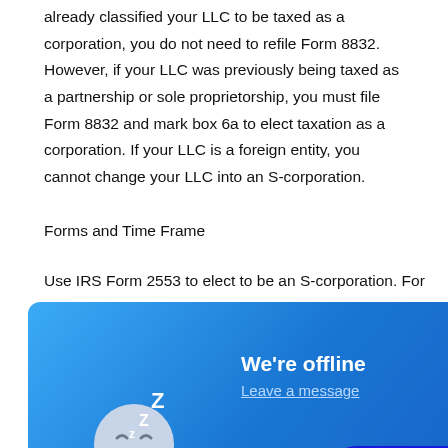already classified your LLC to be taxed as a corporation, you do not need to refile Form 8832. However, if your LLC was previously being taxed as a partnership or sole proprietorship, you must file Form 8832 and mark box 6a to elect taxation as a corporation. If your LLC is a foreign entity, you cannot change your LLC into an S-corporation.
Forms and Time Frame
Use IRS Form 2553 to elect to be an S-corporation. For the election to take effect in the current tax year, it must be filed not more than two months and 15 days from the beginning of the tax year. Otherwise, the election will take effect in the following tax [year. All shareholders of the] LLC on the day of election [must consent to and] sign the election form. You [must also include] the LLC in the [state] in
[Figure (screenshot): Live chat widget overlay showing offline status with a sleeping face icon, 'We're offline' text, 'Leave a message' link, minimize button, and a dark blue 'e now' button bubble partially covering the document text.]
Effects